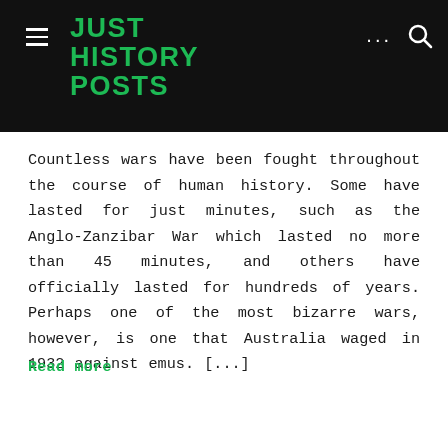JUST HISTORY POSTS
Countless wars have been fought throughout the course of human history. Some have lasted for just minutes, such as the Anglo-Zanzibar War which lasted no more than 45 minutes, and others have officially lasted for hundreds of years. Perhaps one of the most bizarre wars, however, is one that Australia waged in 1932 against emus. [...]
Read more